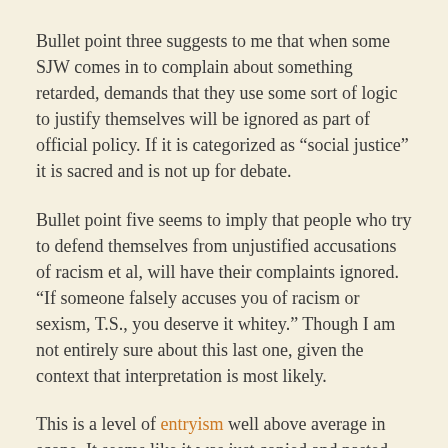Bullet point three suggests to me that when some SJW comes in to complain about something retarded, demands that they use some sort of logic to justify themselves will be ignored as part of official policy. If it is categorized as “social justice” it is sacred and is not up for debate.
Bullet point five seems to imply that people who try to defend themselves from unjustified accusations of racism et al, will have their complaints ignored. “If someone falsely accuses you of racism or sexism, T.S., you deserve it whitey.” Though I am not entirely sure about this last one, given the context that interpretation is most likely.
This is a level of entryism well above average in scope. It seems like it was just copied and pasted out of some